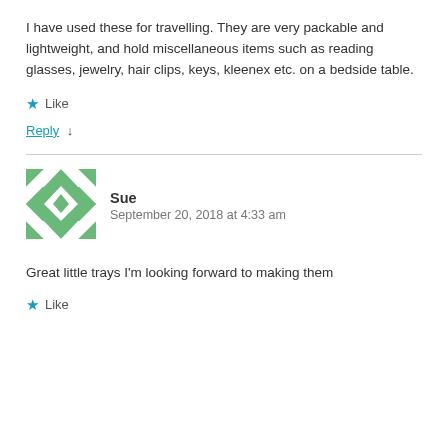I have used these for travelling. They are very packable and lightweight, and hold miscellaneous items such as reading glasses, jewelry, hair clips, keys, kleenex etc. on a bedside table.
★ Like
Reply ↓
Sue
September 20, 2018 at 4:33 am
Great little trays I'm looking forward to making them
★ Like